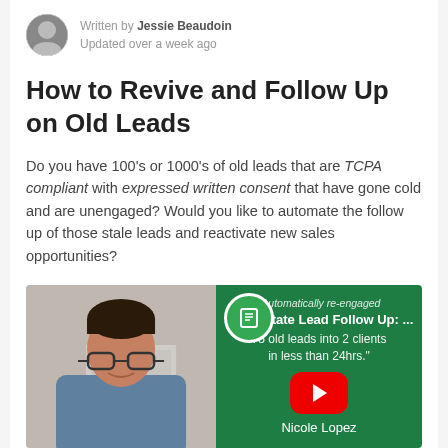Written by Jessie Beaudoin
Updated over a week ago
How to Revive and Follow Up on Old Leads
Do you have 100's or 1000's of old leads that are TCPA compliant with expressed written consent that have gone cold and are unengaged? Would you like to automate the follow up of those stale leads and reactivate new sales opportunities?
[Figure (screenshot): YouTube video thumbnail for 'Real Estate Lead Follow Up: ...' with text 'Automatically re-engaged 75 old leads into 2 clients in less than 24hrs.' by Nicole Lopez, on a green background with a red play button. Left half shows a woman with glasses.]